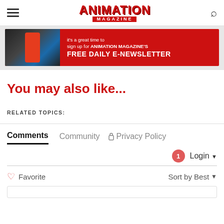Animation Magazine
[Figure (infographic): Animation Magazine newsletter signup banner with magazine on phone screen and red background text: it's a great time to sign up for ANIMATION MAGAZINE'S FREE DAILY E-NEWSLETTER]
You may also like...
RELATED TOPICS:
Comments  Community  Privacy Policy
1  Login
Favorite  Sort by Best